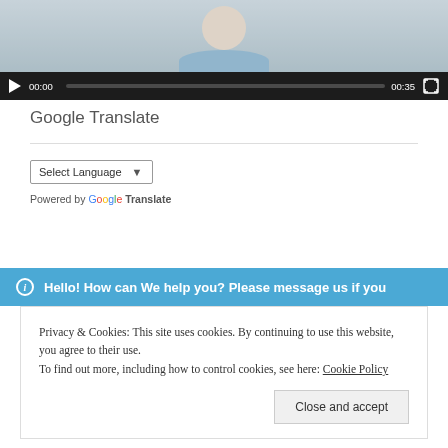[Figure (screenshot): Video player showing a man in a blue jacket with playback controls: play button, time 00:00, progress bar, duration 00:35, fullscreen button on dark toolbar]
Google Translate
Select Language  Powered by Google Translate
Hello! How can We help you? Please message us if you
Privacy & Cookies: This site uses cookies. By continuing to use this website, you agree to their use. To find out more, including how to control cookies, see here: Cookie Policy
Close and accept